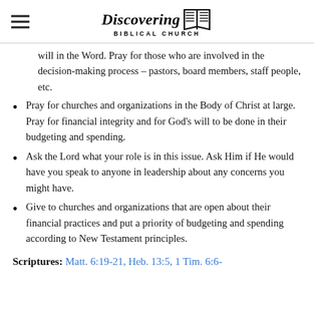Discovering Biblical Church
will in the Word. Pray for those who are involved in the decision-making process – pastors, board members, staff people, etc.
Pray for churches and organizations in the Body of Christ at large. Pray for financial integrity and for God's will to be done in their budgeting and spending.
Ask the Lord what your role is in this issue. Ask Him if He would have you speak to anyone in leadership about any concerns you might have.
Give to churches and organizations that are open about their financial practices and put a priority of budgeting and spending according to New Testament principles.
Scriptures: Matt. 6:19-21, Heb. 13:5, 1 Tim. 6:6-